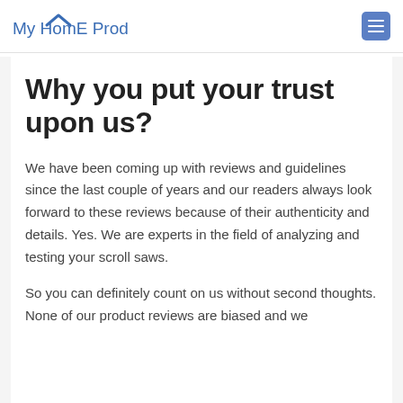My HomE Product
Why you put your trust upon us?
We have been coming up with reviews and guidelines since the last couple of years and our readers always look forward to these reviews because of their authenticity and details. Yes. We are experts in the field of analyzing and testing your scroll saws.
So you can definitely count on us without second thoughts. None of our product reviews are biased and we